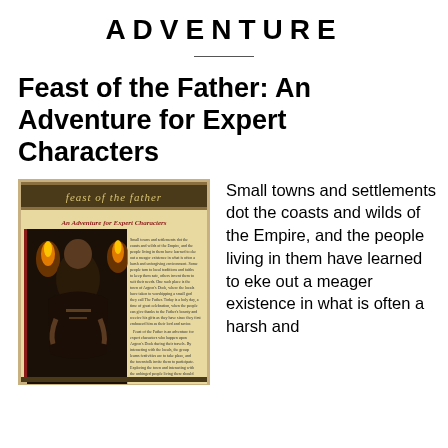ADVENTURE
Feast of the Father: An Adventure for Expert Characters
[Figure (illustration): Cover image of the adventure module 'Feast of the Father: An Adventure for Expert Characters' showing a robed figure with torches and descriptive text on a parchment-style background]
Small towns and settlements dot the coasts and wilds of the Empire, and the people living in them have learned to eke out a meager existence in what is often a harsh and